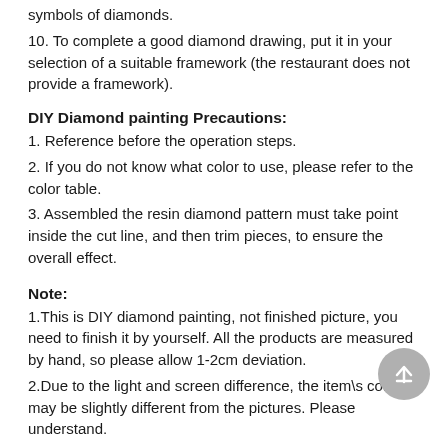symbols of diamonds.
10. To complete a good diamond drawing, put it in your selection of a suitable framework (the restaurant does not provide a framework).
DIY Diamond painting Precautions:
1. Reference before the operation steps.
2. If you do not know what color to use, please refer to the color table.
3. Assembled the resin diamond pattern must take point inside the cut line, and then trim pieces, to ensure the overall effect.
Note:
1.This is DIY diamond painting, not finished picture, you need to finish it by yourself. All the products are measured by hand, so please allow 1-2cm deviation.
2.Due to the light and screen difference, the item\s color may be slightly different from the pictures. Please understand.
Package Content:
1 x Diamond Painting
1 x Rhinestone-pasting Tool(Daub, point drill, speed dish, magic